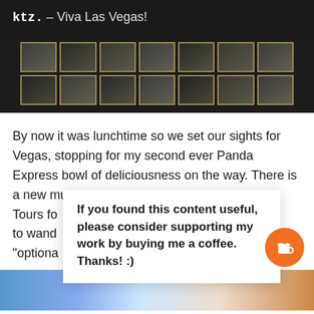ktz. – Viva Las Vegas!
[Figure (photo): Photograph of a building facade with large grid windows, dark toned, illuminated with golden window frames.]
By now it was lunchtime so we set our sights for Vegas, stopping for my second ever Panda Express bowl of deliciousness on the way. There is a new museum signs. Tours fo re allowed to wand r an "optiona
If you found this content useful, please consider supporting my work by buying me a coffee. Thanks! :)
[Figure (photo): Partial photo at the bottom of the page, colorful outdoor scene with blue sky.]